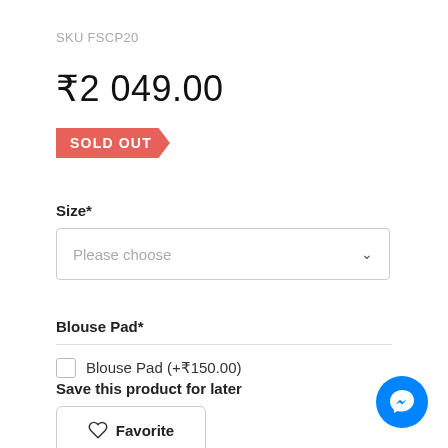SKU FSCP20
₹2 049.00
SOLD OUT
Size*
Please choose
Blouse Pad*
Blouse Pad (+₹150.00)
Save this product for later
Favorite
[Figure (other): Facebook Messenger chat button icon — blue circular button with white lightning bolt/chat icon]